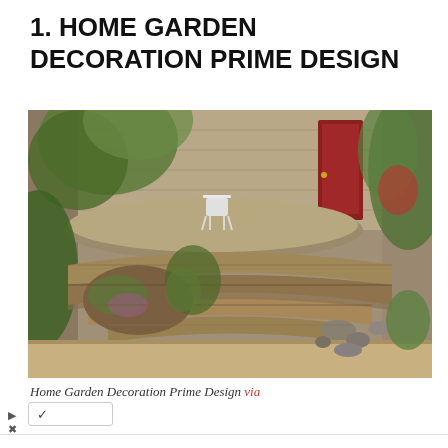1. HOME GARDEN DECORATION PRIME DESIGN
[Figure (photo): Outdoor stone terrace garden with layered stone steps, decorative rocks, lush plants, a white ornate metal chair, red door in background, surrounded by stone walls with climbing plants]
Home Garden Decoration Prime Design via
Frozen Yogurt meets Apple Pie
sweetFrog